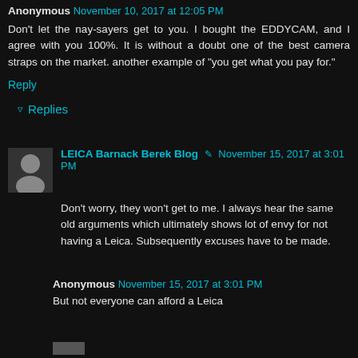Anonymous November 10, 2017 at 12:05 PM
Don't let the nay-sayers get to you. I bought the EDDYCAM, and I agree with you 100%. It is without a doubt one of the best camera straps on the market. another example of "you get what you pay for."
Reply
Replies
LEICA Barnack Berek Blog ✏ November 15, 2017 at 3:01 PM
Don't worry, they won't get to me. I always hear the same old arguments which ultimately shows lot of envy for not having a Leica. Subsequently excuses have to be made.
Anonymous November 15, 2017 at 3:01 PM
But not everyone can afford a Leica